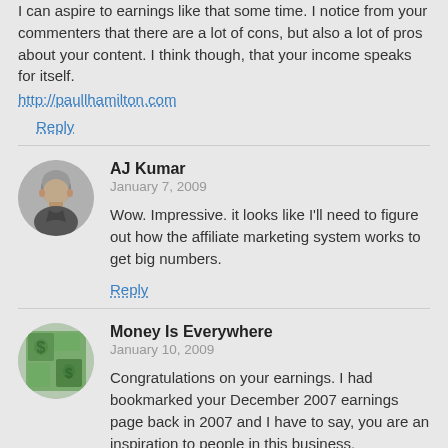I can aspire to earnings like that some time. I notice from your commenters that there are a lot of cons, but also a lot of pros about your content. I think though, that your income speaks for itself.
http://paullhamilton.com
Reply
AJ Kumar
January 7, 2009
Wow. Impressive. it looks like I'll need to figure out how the affiliate marketing system works to get big numbers.
Reply
Money Is Everywhere
January 10, 2009
Congratulations on your earnings. I had bookmarked your December 2007 earnings page back in 2007 and I have to say, you are an inspiration to people in this business.
Reply